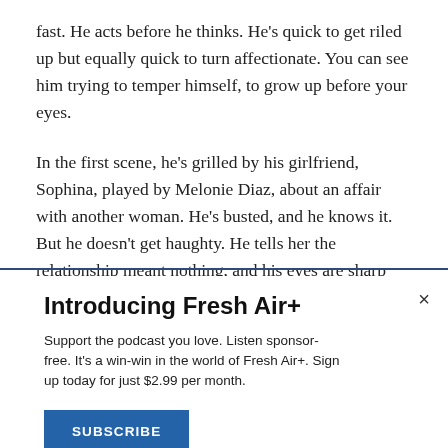fast. He acts before he thinks. He's quick to get riled up but equally quick to turn affectionate. You can see him trying to temper himself, to grow up before your eyes.
In the first scene, he's grilled by his girlfriend, Sophina, played by Melonie Diaz, about an affair with another woman. He's busted, and he knows it. But he doesn't get haughty. He tells her the relationship meant nothing, and his eyes are sharp and clear.
Introducing Fresh Air+
Support the podcast you love. Listen sponsor-free. It's a win-win in the world of Fresh Air+. Sign up today for just $2.99 per month.
SUBSCRIBE